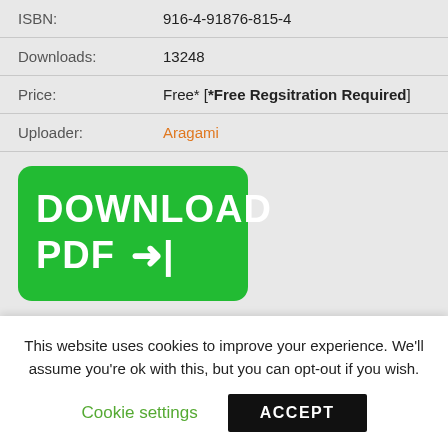| ISBN: | 916-4-91876-815-4 |
| Downloads: | 13248 |
| Price: | Free* [*Free Regsitration Required] |
| Uploader: | Aragami |
[Figure (other): Green download button with white bold text reading DOWNLOAD PDF with arrow icon]
Pressure and Temperature Limits Models Kunkle Relief Valve
This website uses cookies to improve your experience. We'll assume you're ok with this, but you can opt-out if you wish.
Cookie settings   ACCEPT